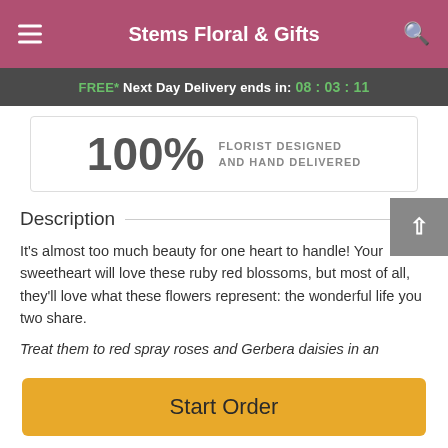Stems Floral & Gifts
FREE* Next Day Delivery ends in: 08:03:11
100% FLORIST DESIGNED AND HAND DELIVERED
Description
It's almost too much beauty for one heart to handle! Your sweetheart will love these ruby red blossoms, but most of all, they'll love what these flowers represent: the wonderful life you two share.
Treat them to red spray roses and Gerbera daisies in an
Start Order